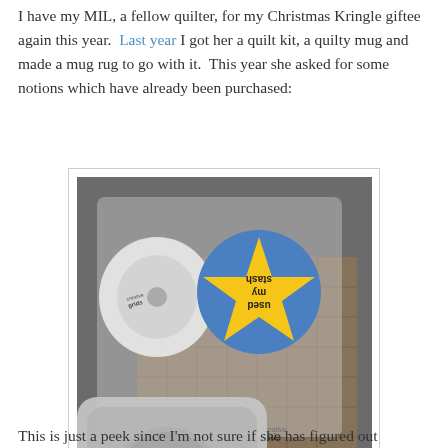I have my MIL, a fellow quilter, for my Christmas Kringle giftee again this year.  Last year I got her a quilt kit, a quilty mug and made a mug rug to go with it.  This year she asked for some notions which have already been purchased:
[Figure (photo): Photo of quilting notions including Creative Grids products: a circular rotary cutter blade in plastic packaging, a Creative Grids ruler, and a button badge that reads 'used my stash' with a yellow star on a blue background, all in plastic packaging.]
This is just a peek since I'm not sure if she has figured out